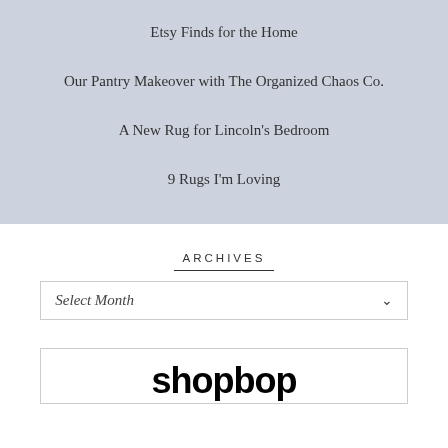Etsy Finds for the Home
Our Pantry Makeover with The Organized Chaos Co.
A New Rug for Lincoln's Bedroom
9 Rugs I'm Loving
ARCHIVES
Select Month
[Figure (logo): Shopbop logo in bold black sans-serif text]